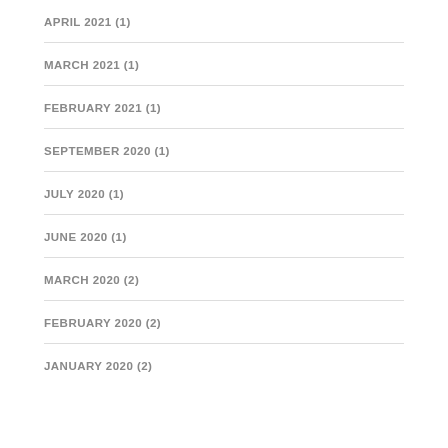APRIL 2021 (1)
MARCH 2021 (1)
FEBRUARY 2021 (1)
SEPTEMBER 2020 (1)
JULY 2020 (1)
JUNE 2020 (1)
MARCH 2020 (2)
FEBRUARY 2020 (2)
JANUARY 2020 (2)